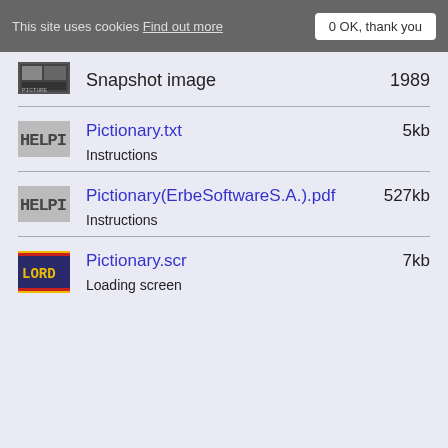This site uses cookies Find out more  0 OK, thank you
[Figure (screenshot): Small pixelated thumbnail image, appears to be a game screenshot]
Snapshot image    1989
[Figure (screenshot): HELPI text icon in gray background, representing help file icon]
Pictionary.txt    5kb
Instructions
[Figure (screenshot): HELPI text icon in gray background, representing help file icon]
Pictionary(ErbeSoftwareS.A.).pdf    527kb
Instructions
[Figure (screenshot): LORD text icon with yellow text on dark blue background with colored stripes]
Pictionary.scr    7kb
Loading screen